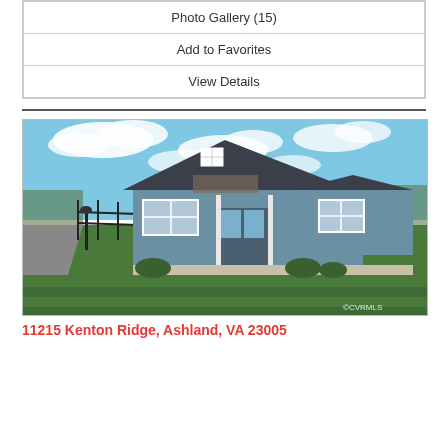Photo Gallery (15)
Add to Favorites
View Details
[Figure (photo): Exterior front view of a craftsman/farmhouse style home with gray board-and-batten siding, white trim, dark roof, front porch, and a large well-manicured green lawn. Blue sky with white clouds. A black fence and driveway visible on the left. Trees in the background. ©CVRMLS watermark in bottom right corner.]
11215 Kenton Ridge, Ashland, VA 23005